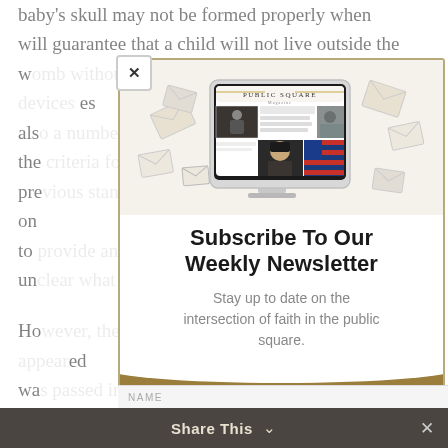baby's skull may not be formed properly when will guarantee that a child will not live outside the w... es als... es, the... pre... on to... un...
Ho... ed wa... "So... chi... ly the... age... al, bu... ter... for... Fu... s as... his pri... ha... NAME
[Figure (screenshot): Public Square Magazine website shown on an iMac monitor with envelopes around it, newsletter subscription modal overlay]
Subscribe To Our Weekly Newsletter
Stay up to date on the intersection of faith in the public square.
Share This ∨